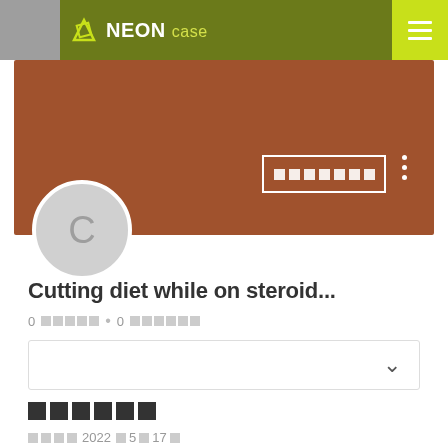NEON case
[Figure (screenshot): Brown profile banner with follow button and avatar circle showing letter C]
Cutting diet while on steroid...
0 □□□□□ • 0 □□□□□
[Figure (other): Dropdown selector box with chevron]
□□□□□□
□□□□ 2022□5□17□